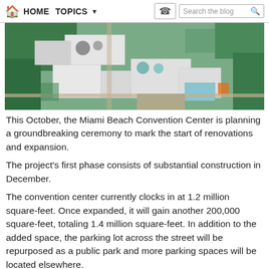HOME  TOPICS  Search the blog
[Figure (photo): Aerial view of Miami Beach Convention Center and surrounding area showing buildings, greenery, pools, and parking lots]
This October, the Miami Beach Convention Center is planning a groundbreaking ceremony to mark the start of renovations and expansion.
The project's first phase consists of substantial construction in December.
The convention center currently clocks in at 1.2 million square-feet. Once expanded, it will gain another 200,000 square-feet, totaling 1.4 million square-feet. In addition to the added space, the parking lot across the street will be repurposed as a public park and more parking spaces will be located elsewhere.
There's also the possibility of a new hotel at the